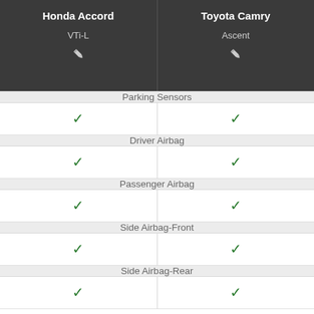| Honda Accord (VTi-L) | Toyota Camry (Ascent) |
| --- | --- |
| Parking Sensors |  |
| ✓ | ✓ |
| Driver Airbag |  |
| ✓ | ✓ |
| Passenger Airbag |  |
| ✓ | ✓ |
| Side Airbag-Front |  |
| ✓ | ✓ |
| Side Airbag-Rear |  |
| ✓ | ✓ |